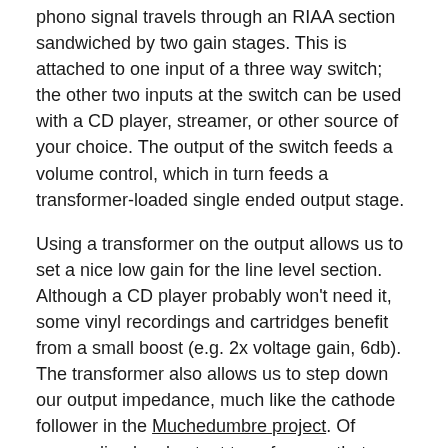phono signal travels through an RIAA section sandwiched by two gain stages. This is attached to one input of a three way switch; the other two inputs at the switch can be used with a CD player, streamer, or other source of your choice. The output of the switch feeds a volume control, which in turn feeds a transformer-loaded single ended output stage.
Using a transformer on the output allows us to set a nice low gain for the line level section. Although a CD player probably won't need it, some vinyl recordings and cartridges benefit from a small boost (e.g. 2x voltage gain, 6db). The transformer also allows us to step down our output impedance, much like the cathode follower in the Muchedumbre project. Of course, line level output transformers that can be used in a series feed configuration are not usually cheap.
I have a pair of Lundahl 1660 AM transformers to be used